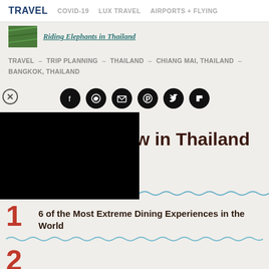TRAVEL  COVID-19  LUX TRAVEL  AIRPORTS + FLYING
Riding Elephants in Thailand
TRAVEL – TRIP PLANNING – THAILAND – CHIANG MAI, THAILAND – BANGKOK, THAILAND
[Figure (infographic): Row of social media share icons (Facebook, WhatsApp, Email, Pinterest, Twitter, Flipboard) as white icons on black circles, with a close (X) button on the left]
[Figure (photo): Black rectangle overlay covering left portion of page, partially hiding article image]
w in Thailand
6 of the Most Extreme Dining Experiences in the World